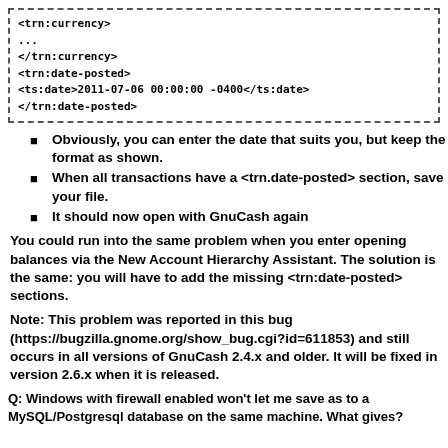[Figure (other): Code block with dashed border showing XML snippet: <trn:currency> ... </trn:currency> <trn:date-posted> <ts:date>2011-07-06 00:00:00 -0400</ts:date> </trn:date-posted>]
Obviously, you can enter the date that suits you, but keep the format as shown.
When all transactions have a <trn.date-posted> section, save your file.
It should now open with GnuCash again
You could run into the same problem when you enter opening balances via the New Account Hierarchy Assistant. The solution is the same: you will have to add the missing <trn:date-posted> sections.
Note: This problem was reported in this bug (https://bugzilla.gnome.org/show_bug.cgi?id=611853) and still occurs in all versions of GnuCash 2.4.x and older. It will be fixed in version 2.6.x when it is released.
Q: Windows with firewall enabled won't let me save as to a MySQL/Postgresql database on the same machine. What gives?